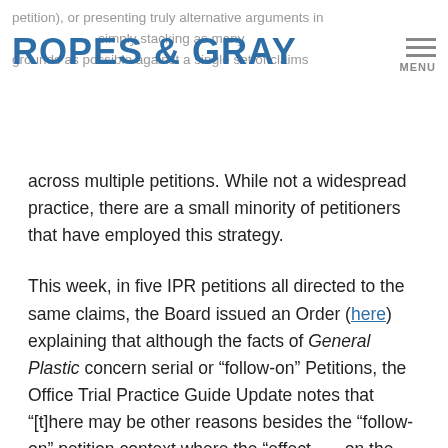petition), or presenting truly alternative arguments in different IPR petitions, as opposed to simply stacking as many grounds as possible against a single set of claims
[Figure (logo): Ropes & Gray law firm logo in blue text]
across multiple petitions. While not a widespread practice, there are a small minority of petitioners that have employed this strategy.
This week, in five IPR petitions all directed to the same claims, the Board issued an Order (here) explaining that although the facts of General Plastic concern serial or “follow-on” Petitions, the Office Trial Practice Guide Update notes that “[t]here may be other reasons besides the “follow-on” petition context where the “effect . . . on the economy, the integrity of the patent system, the efficient administration of the Office, and the ability of the Office to timely complete